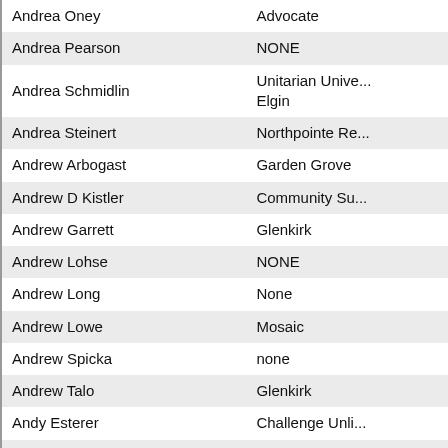| Name | Organization |
| --- | --- |
| Andrea Oney | Advocate |
| Andrea Pearson | NONE |
| Andrea Schmidlin | Unitarian Unive... Elgin |
| Andrea Steinert | Northpointe Re... |
| Andrew Arbogast | Garden Grove |
| Andrew D Kistler | Community Su... |
| Andrew Garrett | Glenkirk |
| Andrew Lohse | NONE |
| Andrew Long | None |
| Andrew Lowe | Mosaic |
| Andrew Spicka | none |
| Andrew Talo | Glenkirk |
| Andy Esterer | Challenge Unli... |
| Angel Avila | Glenkirk |
| Angela Brooks | CCAR Industrie... |
| Angela Brooks | Community Liv... |
| Angela Connor | none |
| Angela Dea | advocate |